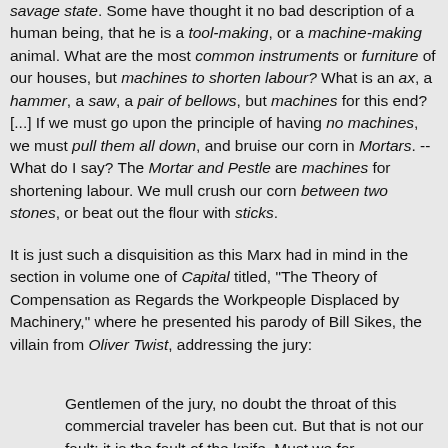savage state. Some have thought it no bad description of a human being, that he is a tool-making, or a machine-making animal. What are the most common instruments or furniture of our houses, but machines to shorten labour? What is an ax, a hammer, a saw, a pair of bellows, but machines for this end? [...] If we must go upon the principle of having no machines, we must pull them all down, and bruise our corn in Mortars. -- What do I say? The Mortar and Pestle are machines for shortening labour. We mull crush our corn between two stones, or beat out the flour with sticks.
It is just such a disquisition as this Marx had in mind in the section in volume one of Capital titled, "The Theory of Compensation as Regards the Workpeople Displaced by Machinery," where he presented his parody of Bill Sikes, the villain from Oliver Twist, addressing the jury:
Gentlemen of the jury, no doubt the throat of this commercial traveler has been cut. But that is not our fault; it is the fault of the knife. Must we for